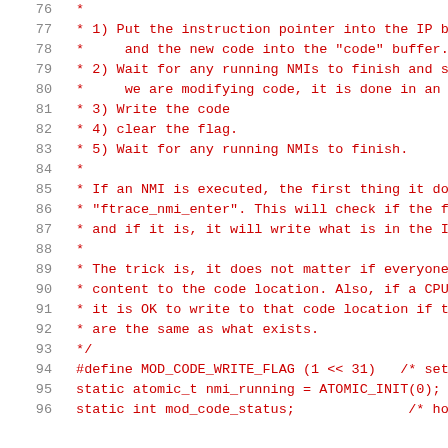Source code comment block and C definitions, lines 76-96
76  *
77  * 1) Put the instruction pointer into the IP bu
78  *    and the new code into the "code" buffer.
79  * 2) Wait for any running NMIs to finish and se
80  *    we are modifying code, it is done in an a
81  * 3) Write the code
82  * 4) clear the flag.
83  * 5) Wait for any running NMIs to finish.
84  *
85  * If an NMI is executed, the first thing it doe
86  * "ftrace_nmi_enter". This will check if the f
87  * and if it is, it will write what is in the I
88  *
89  * The trick is, it does not matter if everyone
90  * content to the code location. Also, if a CPU
91  * it is OK to write to that code location if th
92  * are the same as what exists.
93  */
94  #define MOD_CODE_WRITE_FLAG (1 << 31)   /* set r
95  static atomic_t nmi_running = ATOMIC_INIT(0);
96  static int mod_code_status;              /* holds